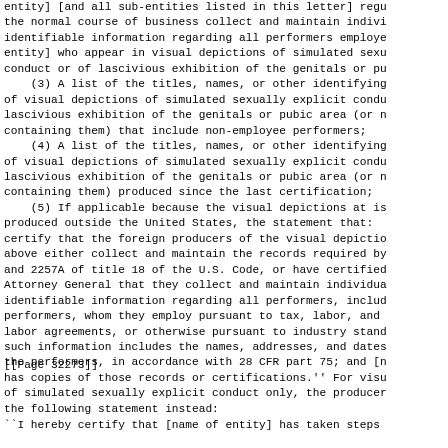entity] [and all sub-entities listed in this letter] regu the normal course of business collect and maintain indivi identifiable information regarding all performers employe entity] who appear in visual depictions of simulated sexu conduct or of lascivious exhibition of the genitals or pu
    (3) A list of the titles, names, or other identifying of visual depictions of simulated sexually explicit condu lascivious exhibition of the genitals or pubic area (or n containing them) that include non-employee performers;
    (4) A list of the titles, names, or other identifying of visual depictions of simulated sexually explicit condu lascivious exhibition of the genitals or pubic area (or n containing them) produced since the last certification;
    (5) If applicable because the visual depictions at is produced outside the United States, the statement that: certify that the foreign producers of the visual depictio above either collect and maintain the records required by and 2257A of title 18 of the U.S. Code, or have certified Attorney General that they collect and maintain individua identifiable information regarding all performers, includ performers, whom they employ pursuant to tax, labor, and labor agreements, or otherwise pursuant to industry stand such information includes the names, addresses, and dates the performers, in accordance with 28 CFR part 75; and [n has copies of those records or certifications.'' For visu of simulated sexually explicit conduct only, the producer the following statement instead:
[[Page 32273]]
``I hereby certify that [name of entity] has taken steps